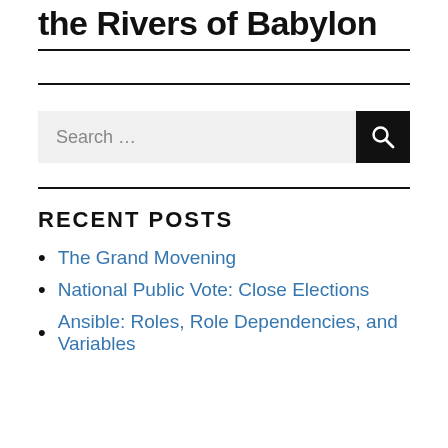the Rivers of Babylon
RECENT POSTS
The Grand Movening
National Public Vote: Close Elections
Ansible: Roles, Role Dependencies, and Variables